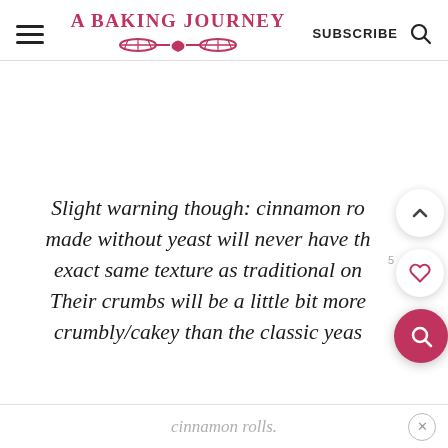A BAKING JOURNEY | SUBSCRIBE
Slight warning though: cinnamon rolls made without yeast will never have the exact same texture as traditional ones. Their crumbs will be a little bit more crumbly/cakey than the classic yeast cinnamon rolls.